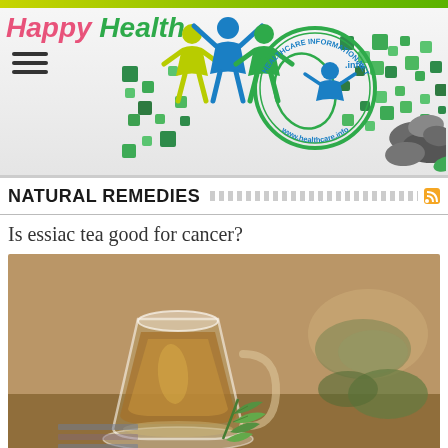[Figure (logo): Happy Healthy Healthcare Information Network banner with colorful figures, green mosaic tiles, stones, and circular healthcare logo]
NATURAL REMEDIES
Is essiac tea good for cancer?
[Figure (photo): Close-up photograph of a glass cup of amber herbal tea with fresh mint leaves beside it and herbs in a bowl in the background]